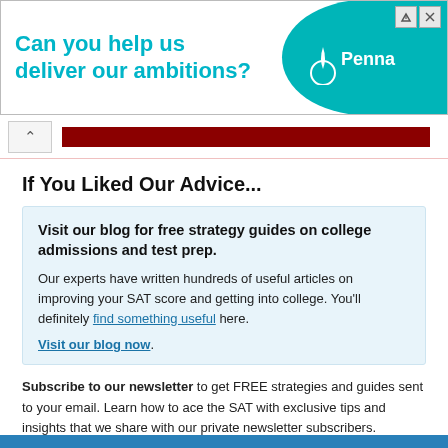[Figure (other): Advertisement banner for Penna with teal background and text 'Can you help us deliver our ambitions?']
If You Liked Our Advice...
Visit our blog for free strategy guides on college admissions and test prep.

Our experts have written hundreds of useful articles on improving your SAT score and getting into college. You'll definitely find something useful here.

Visit our blog now.
Subscribe to our newsletter to get FREE strategies and guides sent to your email. Learn how to ace the SAT with exclusive tips and insights that we share with our private newsletter subscribers.